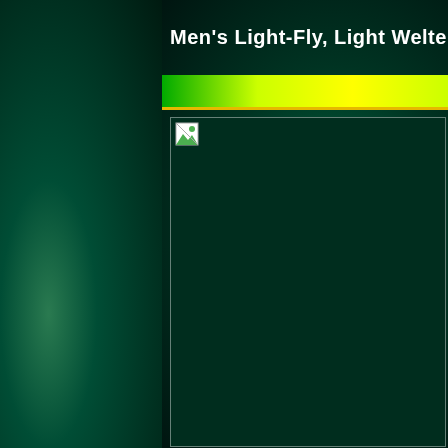Men's Light-Fly, Light Welter
[Figure (photo): Broken/missing image placeholder on dark green background, representing a sports event photo related to Men's Light-Fly and Light Welterweight boxing categories]